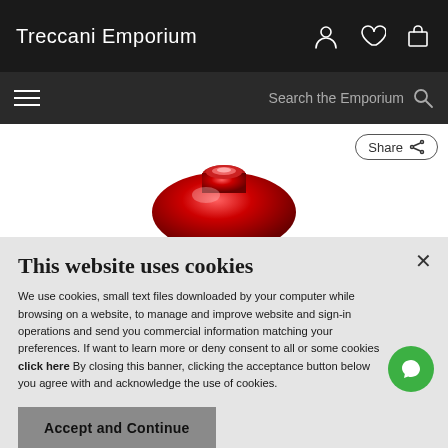Treccani Emporium
[Figure (screenshot): Secondary navigation bar with hamburger menu icon and search bar saying 'Search the Emporium']
[Figure (photo): Top portion of a round red glass decorative object on a white background with a Share button in the top-right]
This website uses cookies
We use cookies, small text files downloaded by your computer while browsing on a website, to manage and improve website and sign-in operations and send you commercial information matching your preferences. If want to learn more or deny consent to all or some cookies click here By closing this banner, clicking the acceptance button below you agree with and acknowledge the use of cookies.
Accept and Continue